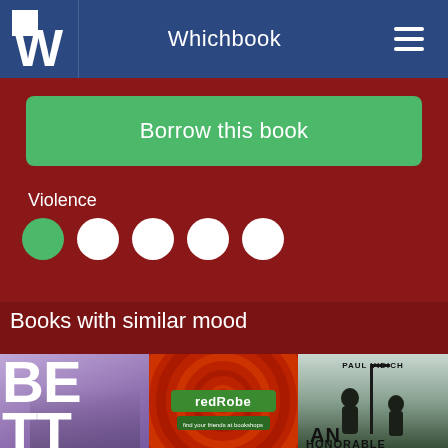Whichbook
Borrow this book
Violence
[Figure (infographic): 5 dots rating indicator for Violence, first dot filled green, remaining 4 dots white/empty]
Books with similar mood
[Figure (photo): Book cover: BETT - purple toned image with large white letters BE TT and a child's face]
[Figure (photo): Book cover: redRobe - red circular design with green logo text]
[Figure (photo): Book cover: An Honorable (Paul Vidich) - noir silhouette of two figures, light background]